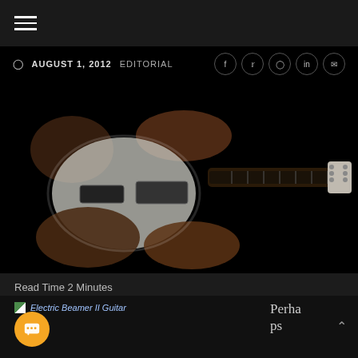Navigation menu (hamburger icon)
AUGUST 1, 2012   EDITORIAL
[Figure (photo): Electric guitar with a car-like wooden body design — 'Electric Beamer II Guitar' — on a black background. The guitar has dual wood-toned curved horns resembling a car body, a metallic neck with frets, and chrome tuning pegs.]
Read Time 2 Minutes
Cars + Guitars = Guitcars
[Figure (photo): Electric Beamer II Guitar - small thumbnail image placeholder]
Perhaps some